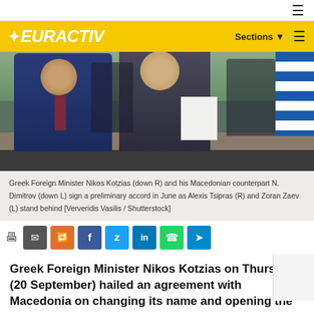EURACTIV — Sections
[Figure (photo): Greek Foreign Minister Nikos Kotzias and Macedonian counterpart N. Dimitrov signing a preliminary accord, with Alexis Tsipras and Zoran Zaev standing behind, Greek flag visible in background.]
Greek Foreign Minister Nikos Kotzias (down R) and his Macedonian counterpart N. Dimitrov (down L) sign a preliminary accord in June as Alexis Tsipras (R) and Zoran Zaev (L) stand behind [Ververidis Vasilis / Shutterstock]
Greek Foreign Minister Nikos Kotzias on Thursday (20 September) hailed an agreement with Macedonia on changing its name and opening the